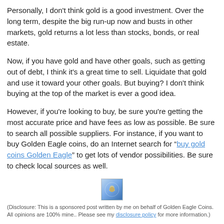Personally, I don't think gold is a good investment.  Over the long term, despite the big run-up now and busts in other markets, gold returns a lot less than stocks, bonds, or real estate.
Now, if you have gold and have other goals, such as getting out of debt, I think it's a great time to sell.  Liquidate that gold and use it toward your other goals.  But buying?  I don't think buying at the top of the market is ever a good idea.
However, if you're looking to buy, be sure you're getting the most accurate price and have fees as low as possible.  Be sure to search all possible suppliers.  For instance, if you want to buy Golden Eagle coins, do an Internet search for "buy gold coins Golden Eagle" to get lots of vendor possibilities.  Be sure to check local sources as well.
[Figure (illustration): Small golden eagle coin image thumbnail]
(Disclosure: This is a sponsored post written by me on behalf of Golden Eagle Coins. All opinions are 100% mine.. Please see my disclosure policy for more information.)